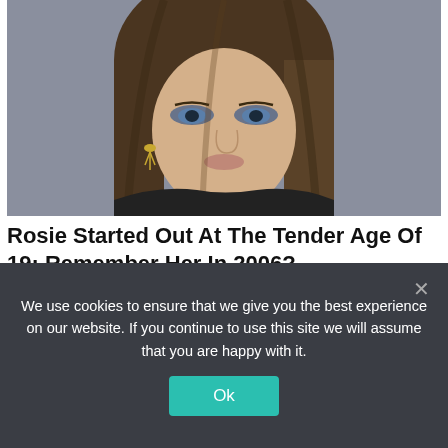[Figure (photo): Young woman with long brown hair, blue eye makeup, and gold earrings against a gray background]
Rosie Started Out At The Tender Age Of 19: Remember Her In 2006?
HERBEAUTY
[Figure (photo): Partially visible image of people at an event, showing a red-haired individual]
We use cookies to ensure that we give you the best experience on our website. If you continue to use this site we will assume that you are happy with it.
Ok